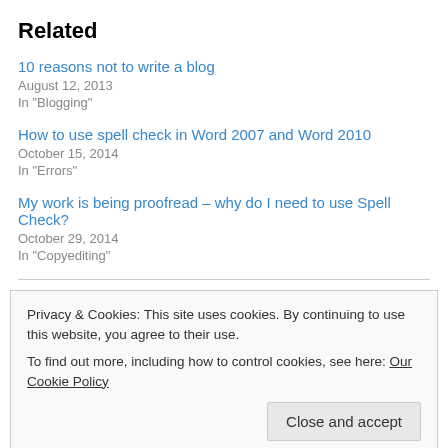Related
10 reasons not to write a blog
August 12, 2013
In "Blogging"
How to use spell check in Word 2007 and Word 2010
October 15, 2014
In "Errors"
My work is being proofread – why do I need to use Spell Check?
October 29, 2014
In "Copyediting"
Privacy & Cookies: This site uses cookies. By continuing to use this website, you agree to their use.
To find out more, including how to control cookies, see here: Our Cookie Policy
Close and accept